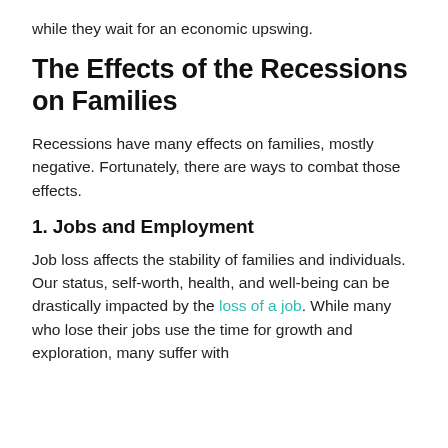while they wait for an economic upswing.
The Effects of the Recessions on Families
Recessions have many effects on families, mostly negative. Fortunately, there are ways to combat those effects.
1. Jobs and Employment
Job loss affects the stability of families and individuals. Our status, self-worth, health, and well-being can be drastically impacted by the loss of a job. While many who lose their jobs use the time for growth and exploration, many suffer with depression and other mental health issues.